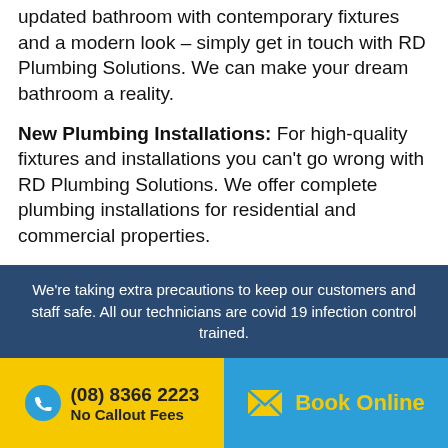updated bathroom with contemporary fixtures and a modern look – simply get in touch with RD Plumbing Solutions. We can make your dream bathroom a reality.
New Plumbing Installations: For high-quality fixtures and installations you can't go wrong with RD Plumbing Solutions. We offer complete plumbing installations for residential and commercial properties.
Regular Plumbing Maintenance Adelaide: No matter where you are in the Adelaide metropolitan area – we are always just a phone call away and on standby to provide
We're taking extra precautions to keep our customers and staff safe. All our technicians are covid 19 infection control trained.
(08) 8366 2223
No Callout Fees
Book Online